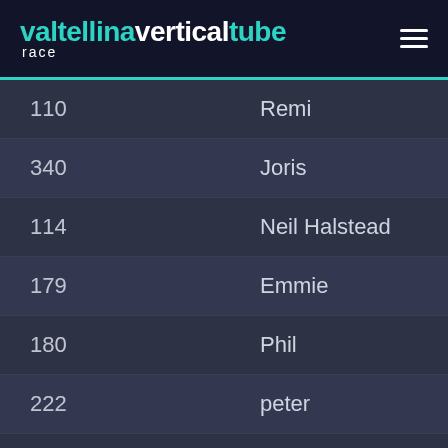valtellinaverticaltube race
| Number | Name |
| --- | --- |
| 110 | Remi |
| 340 | Joris |
| 114 | Neil Halstead |
| 179 | Emmie |
| 180 | Phil |
| 222 | peter |
| 223 | maddy |
| 412 | Laura |
| 485 | David |